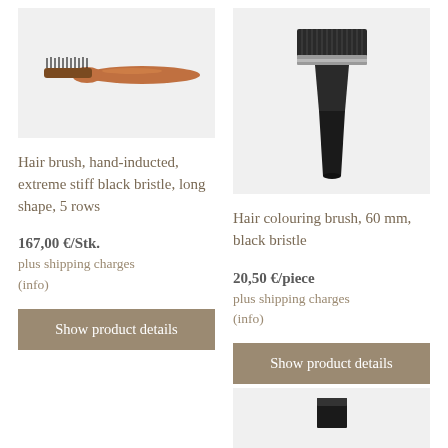[Figure (photo): Hair brush with wooden handle and black bristles, long shape, viewed from above on light grey background]
[Figure (photo): Hair colouring brush, 60mm width, with black bristles and dark handle, viewed from front on light grey background]
Hair brush, hand-inducted, extreme stiff black bristle, long shape, 5 rows
Hair colouring brush, 60 mm, black bristle
167,00 €/Stk.
plus shipping charges (info)
20,50 €/piece
plus shipping charges (info)
Show product details
Show product details
[Figure (photo): Partial view of another product at bottom right, appears to be a brush or tool on grey background]